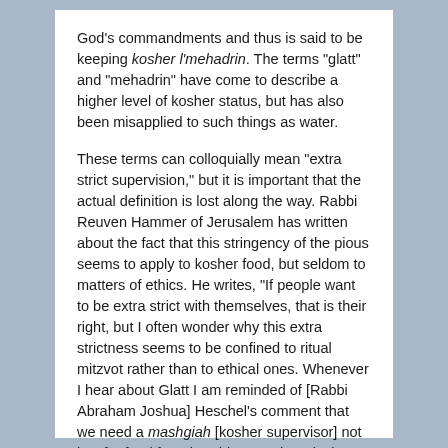God's commandments and thus is said to be keeping kosher l'mehadrin. The terms "glatt" and "mehadrin" have come to describe a higher level of kosher status, but has also been misapplied to such things as water.
These terms can colloquially mean "extra strict supervision," but it is important that the actual definition is lost along the way. Rabbi Reuven Hammer of Jerusalem has written about the fact that this stringency of the pious seems to apply to kosher food, but seldom to matters of ethics. He writes, "If people want to be extra strict with themselves, that is their right, but I often wonder why this extra strictness seems to be confined to ritual mitzvot rather than to ethical ones. Whenever I hear about Glatt I am reminded of [Rabbi Abraham Joshua] Heschel's comment that we need a mashgiah [kosher supervisor] not just for food for other things such as lashon ha-ra – gossip – as well.